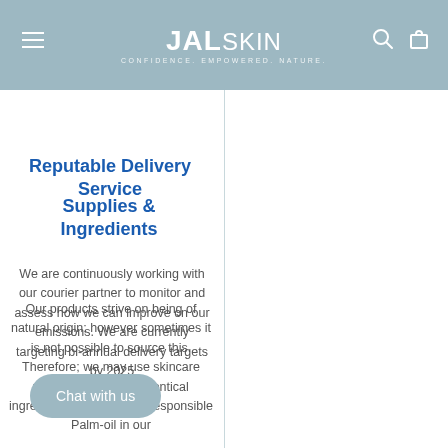JALskin — CONFIDENCE. EMPOWERED. NATURE.
Reputable Delivery Service
We are continuously working with our courier partner to monitor and assess how we can improve on our emissions. We are currently targeting bi-annual delivery targets by 2025
Supplies & Ingredients
Our products strive on being of natural origin; however sometimes it is not possible to source this. Therefore; we may use skincare which are synthetic identical ingredients. We only use responsible Palm-oil in our